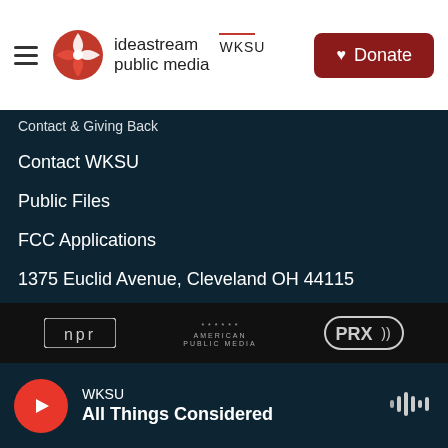[Figure (logo): Ideastream Public Media WKSU logo with red compass rose icon]
Donate
Contact WKSU
Public Files
FCC Applications
1375 Euclid Avenue, Cleveland OH 44115
(216) 916-6100 | (877) 399-3307
[Figure (logo): NPR logo, American Public Media logo, PRX logo in footer bar]
WKSU
All Things Considered